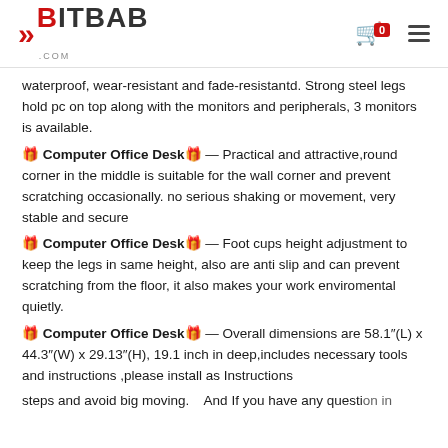BITBAB.COM
waterproof, wear-resistant and fade-resistantd. Strong steel legs hold pc on top along with the monitors and peripherals, 3 monitors is available.
🎁 Computer Office Desk🎁 — Practical and attractive,round corner in the middle is suitable for the wall corner and prevent scratching occasionally. no serious shaking or movement, very stable and secure
🎁 Computer Office Desk🎁 — Foot cups height adjustment to keep the legs in same height, also are anti slip and can prevent scratching from the floor, it also makes your work enviromental quietly.
🎁 Computer Office Desk🎁 — Overall dimensions are 58.1″(L) x 44.3″(W) x 29.13″(H), 19.1 inch in deep,includes necessary tools and instructions ,please install as Instructions steps and avoid big moving. And If you have any question in